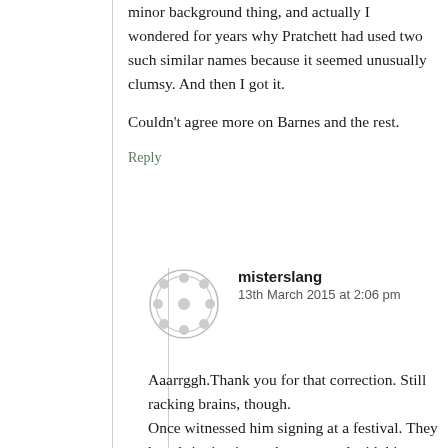minor background thing, and actually I wondered for years why Pratchett had used two such similar names because it seemed unusually clumsy. And then I got it.
Couldn't agree more on Barnes and the rest.
Reply
misterslang
13th March 2015 at 2:06 pm
Aaarrggh.Thank you for that correction. Still racking brains, though.
Once witnessed him signing at a festival. They kept bringing in trucks crammed with his books, and the queue never,